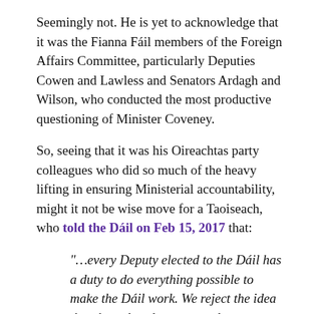Seemingly not. He is yet to acknowledge that it was the Fianna Fáil members of the Foreign Affairs Committee, particularly Deputies Cowen and Lawless and Senators Ardagh and Wilson, who conducted the most productive questioning of Minister Coveney.
So, seeing that it was his Oireachtas party colleagues who did so much of the heavy lifting in ensuring Ministerial accountability, might it not be wise move for a Taoiseach, who told the Dáil on Feb 15, 2017 that:
“…every Deputy elected to the Dáil has a duty to do everything possible to make the Dáil work. We reject the idea that the only roles we can play are to support Government in everything or oppose it in everything”,
to follow the sound logic of that approach and request Minister Coveney to come before a Fianna Fáil back